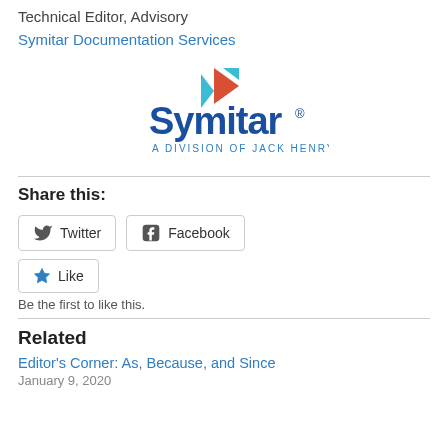Technical Editor, Advisory
Symitar Documentation Services
[Figure (logo): Symitar logo — bold blue Symitar wordmark with a red/teal arrow icon above, and 'A DIVISION OF JACK HENRY' in small blue caps below]
Share this:
Twitter
Facebook
Like
Be the first to like this.
Related
Editor's Corner: As, Because, and Since
January 9, 2020